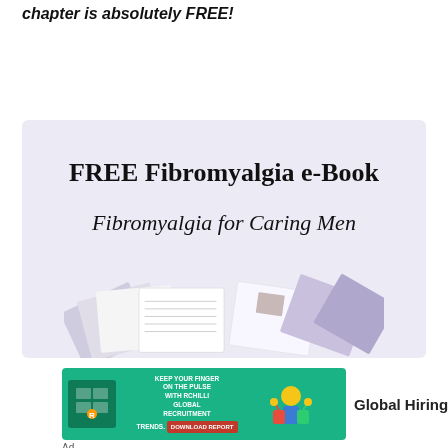chapter is absolutely FREE!
[Figure (other): Promotional box with lavender/light purple background advertising a FREE Fibromyalgia e-Book titled 'Fibromyalgia for Caring Men', with a fan of book pages displayed at the bottom]
[Figure (other): Advertisement banner: green background with 'Keep your finger on the pulse with RChilli Global Recruitment Trends' text and an illustration, alongside 'Global Hiring Trends' text with play and close buttons]